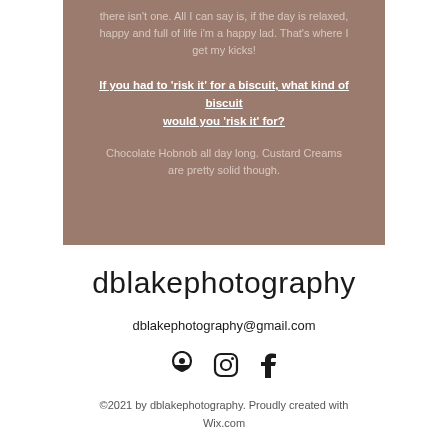there isn't one. All I can say is, if the day is relaxed, happy and full of life i'm a happy lad. That's where I get my kicks!
If you had to 'risk it' for a biscuit, what kind of biscuit would you 'risk it' for?
Chocolate Hobnob all day long. Custard Creams are pretty solid though.
dblakephotography
dblakephotography@gmail.com
[Figure (illustration): Three social media icons: location pin (Google Maps), Instagram, and Facebook]
©2021 by dblakephotography. Proudly created with Wix.com